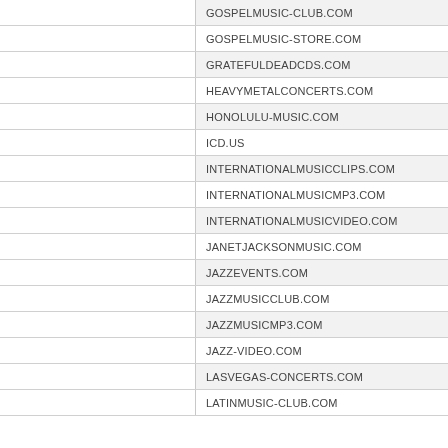GOSPELMUSIC-CLUB.COM
GOSPELMUSIC-STORE.COM
GRATEFULDEADCDS.COM
HEAVYMETALCONCERTS.COM
HONOLULU-MUSIC.COM
ICD.US
INTERNATIONALMUSICCLIPS.COM
INTERNATIONALMUSICMP3.COM
INTERNATIONALMUSICVIDEO.COM
JANETJACKSONMUSIC.COM
JAZZEVENTS.COM
JAZZMUSICCLUB.COM
JAZZMUSICMP3.COM
JAZZ-VIDEO.COM
LASVEGAS-CONCERTS.COM
LATINMUSIC-CLUB.COM